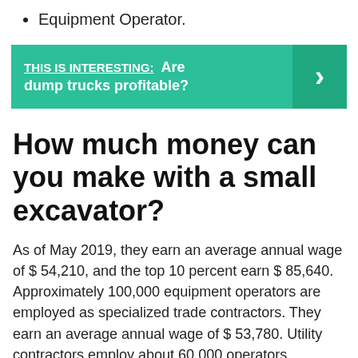Equipment Operator.
THIS IS INTERESTING:  Are dump trucks profitable?
How much money can you make with a small excavator?
As of May 2019, they earn an average annual wage of $ 54,210, and the top 10 percent earn $ 85,640. Approximately 100,000 equipment operators are employed as specialized trade contractors. They earn an average annual wage of $ 53,780. Utility contractors employ about 60,000 operators